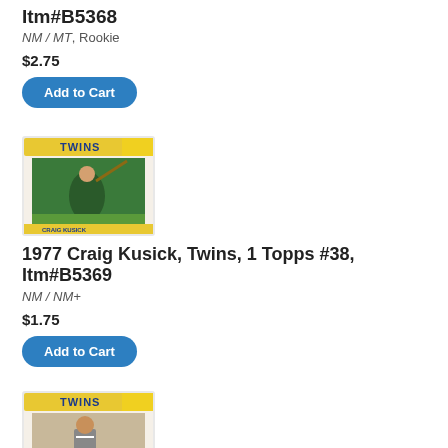Itm#B5368
NM / MT, Rookie
$2.75
Add to Cart
[Figure (photo): 1977 Topps baseball card showing Twins player Craig Kusick batting]
1977 Craig Kusick, Twins, 1 Topps #38, Itm#B5369
NM / NM+
$1.75
Add to Cart
[Figure (photo): 1977 Topps baseball card showing Twins player Dan Ford]